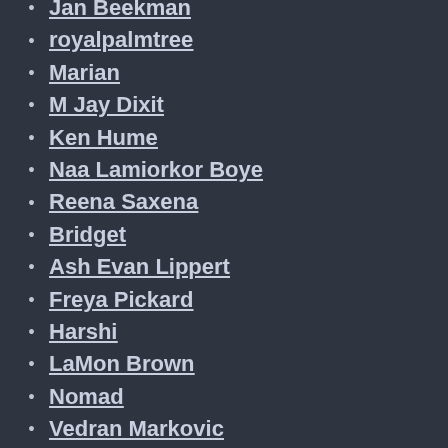Jan Beekman
royalpalmtree
Marian
M Jay Dixit
Ken Hume
Naa Lamiorkor Boye
Reena Saxena
Bridget
Ash Evan Lippert
Freya Pickard
Harshi
LaMon Brown
Nomad
Vedran Markovic
The.Richard.Braxton
Kim Whysall-Hammond